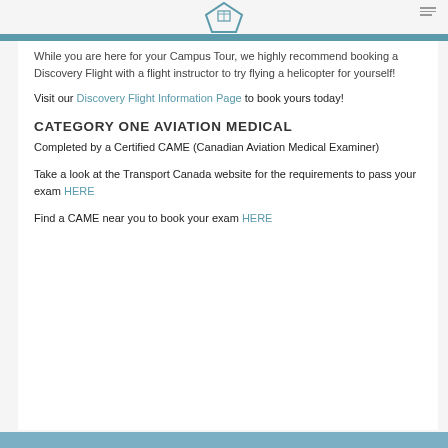Helicopters Canada logo
While you are here for your Campus Tour, we highly recommend booking a Discovery Flight with a flight instructor to try flying a helicopter for yourself!
Visit our Discovery Flight Information Page to book yours today!
CATEGORY ONE AVIATION MEDICAL
Completed by a Certified CAME (Canadian Aviation Medical Examiner)
Take a look at the Transport Canada website for the requirements to pass your exam HERE
Find a CAME near you to book your exam HERE